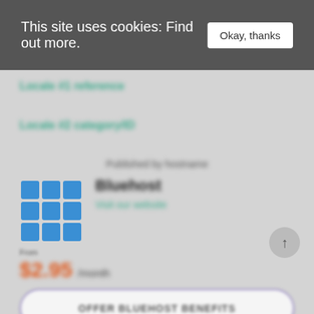This site uses cookies: Find out more. Okay, thanks
Locale #1 reference
Locale #2 category/ID
Published by hostname
[Figure (logo): 3x3 grid of blue squares logo]
Bluehost
Visit our website
From
$2.95 /month
OFFER BLUEHOST BENEFITS